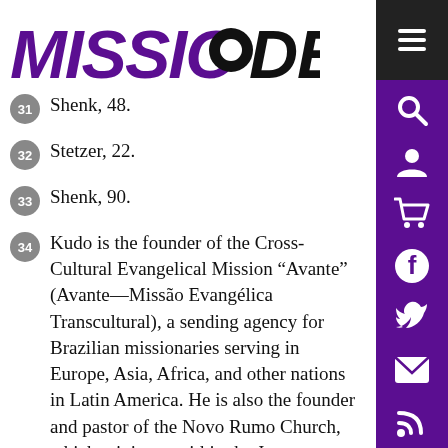[Figure (logo): Missio Dei logo with purple bold italic MISSIO text and black DEI text with circle over the O]
31 Shenk, 48.
32 Stetzer, 22.
33 Shenk, 90.
34 Kudo is the founder of the Cross-Cultural Evangelical Mission “Avante” (Avante—Missão Evangélica Transcultural), a sending agency for Brazilian missionaries serving in Europe, Asia, Africa, and other nations in Latin America. He is also the founder and pastor of the Novo Rumo Church, which ministers within the Japanese community of
[Figure (infographic): Purple vertical sidebar with hamburger menu icon (dark background), search icon, user icon, cart icon, Facebook icon, Twitter icon, email icon, and RSS feed icon]